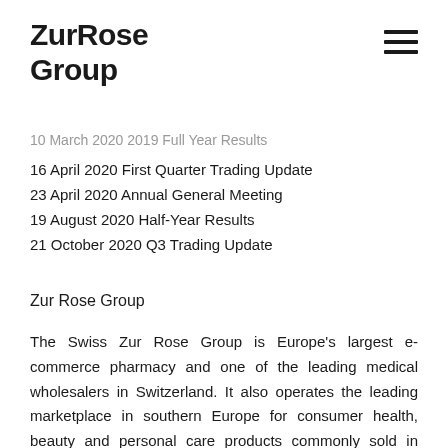ZurRose Group
10 March 2020 2019 Full Year Results
16 April 2020 First Quarter Trading Update
23 April 2020 Annual General Meeting
19 August 2020 Half-Year Results
21 October 2020 Q3 Trading Update
Zur Rose Group
The Swiss Zur Rose Group is Europe's largest e-commerce pharmacy and one of the leading medical wholesalers in Switzerland. It also operates the leading marketplace in southern Europe for consumer health, beauty and personal care products commonly sold in pharmacies. The company is internationally